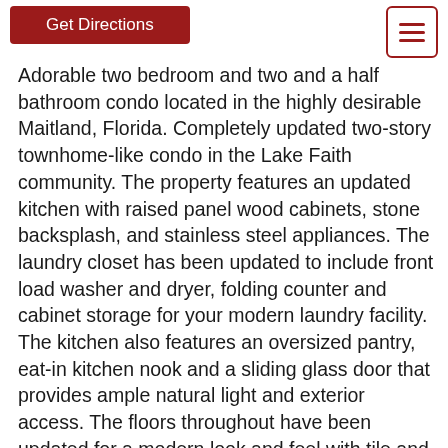[Figure (other): Red 'Get Directions' button and hamburger menu icon with red border]
Adorable two bedroom and two and a half bathroom condo located in the highly desirable Maitland, Florida. Completely updated two-story townhome-like condo in the Lake Faith community. The property features an updated kitchen with raised panel wood cabinets, stone backsplash, and stainless steel appliances. The laundry closet has been updated to include front load washer and dryer, folding counter and cabinet storage for your modern laundry facility. The kitchen also features an oversized pantry, eat-in kitchen nook and a sliding glass door that provides ample natural light and exterior access. The floors throughout have been updated for a modern look and feel with tile and wood look laminate excluding the dust and dander that are associated with carpet floors. The bathrooms have all been updated and the master bedroom has an oversized walk-in closet that features custom build outs for the pickiest and most